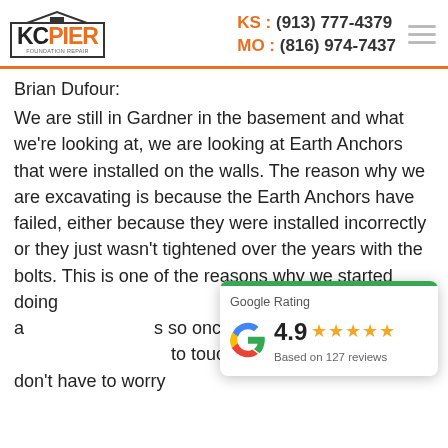KC Pier | KS: (913) 777-4379 | MO: (816) 974-7437
Brian Dufour:
We are still in Gardner in the basement and what we're looking at, we are looking at Earth Anchors that were installed on the walls. The reason why we are excavating is because the Earth Anchors have failed, either because they were installed incorrectly or they just wasn't tightened over the years with the bolts. This is one of the reasons why we started doing we get that in place, it's a s so once the beams ar to touch them anymore and you don't have to worry
[Figure (other): Google Rating card overlay showing 4.9 stars based on 127 reviews with green bar at top and Google G logo]